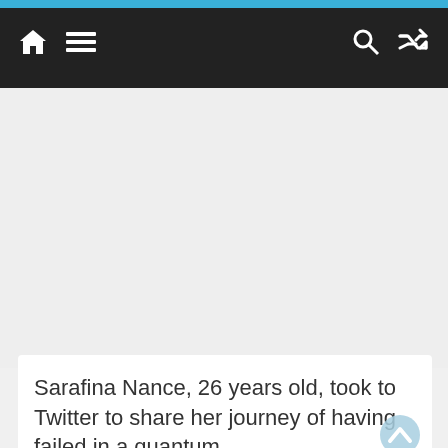Navigation bar with home, menu, search, and shuffle icons
[Figure (screenshot): Gray empty content area (advertisement or image placeholder)]
Sarafina Nance, 26 years old, took to Twitter to share her journey of having failed in a quantum